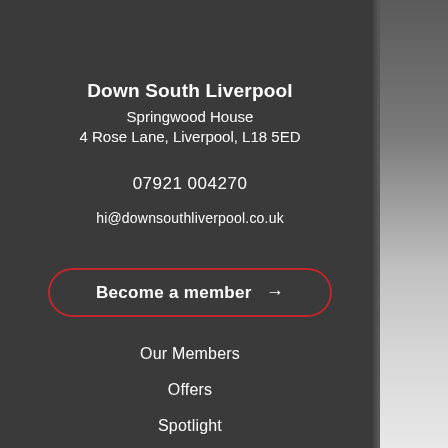Down South Liverpool
Springwood House
4 Rose Lane, Liverpool, L18 5ED
07921 004270
hi@downsouthliverpool.co.uk
Become a member →
Our Members
Offers
Spotlight
News